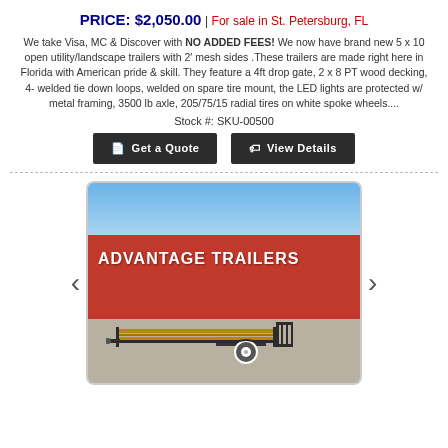PRICE: $2,050.00 | For sale in St. Petersburg, FL
We take Visa, MC & Discover with NO ADDED FEES! We now have brand new 5 x 10 open utility/landscape trailers with 2' mesh sides .These trailers are made right here in Florida with American pride & skill. They feature a 4ft drop gate, 2 x 8 PT wood decking, 4- welded tie down loops, welded on spare tire mount, the LED lights are protected w/ metal framing, 3500 lb axle, 205/75/15 radial tires on white spoke wheels....
Stock #: SKU-00500
[Figure (photo): Photo of a utility/landscape trailer parked in front of a red building with 'ADVANTAGE TRAILERS' sign, with blue sky background.]